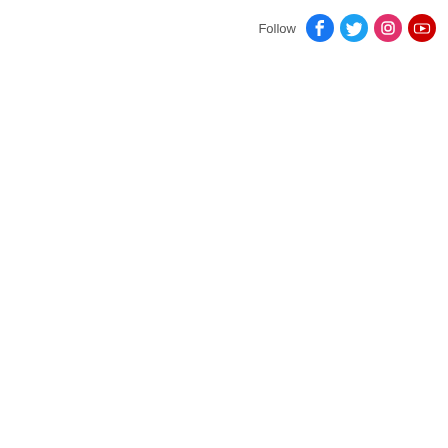Follow [Facebook] [Twitter] [Instagram] [YouTube]